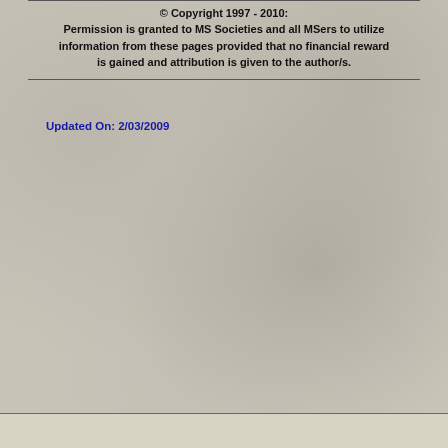© Copyright 1997 - 2010:
Permission is granted to MS Societies and all MSers to utilize information from these pages provided that no financial reward is gained and attribution is given to the author/s.
Updated On: 2/03/2009